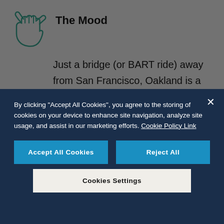[Figure (illustration): Shaka hand gesture icon in teal/dark green outline style]
The Mood
Just a bridge (or BART ride) away from San Francisco, Oakland is a creative epicenter with lots of new urban gardens and farms.
By clicking “Accept All Cookies”, you agree to the storing of cookies on your device to enhance site navigation, analyze site usage, and assist in our marketing efforts. Cookie Policy Link
Accept All Cookies
Reject All
Cookies Settings